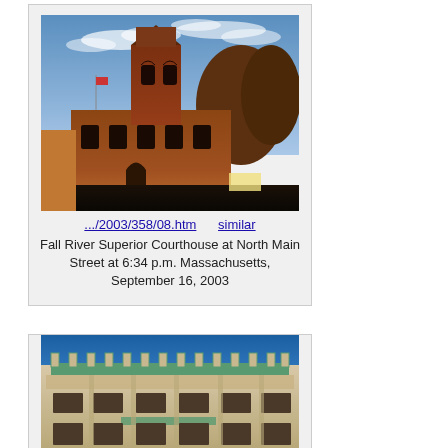[Figure (photo): Photograph of Fall River Superior Courthouse, a red-brick Romanesque Revival building with a clock tower, taken at golden hour on September 16, 2003]
.../2003/358/08.htm    similar
Fall River Superior Courthouse at North Main Street at 6:34 p.m. Massachusetts, September 16, 2003
[Figure (photo): Photograph of an ornate Beaux-Arts style building facade with decorative stonework, turrets, and green copper trim against a blue sky]